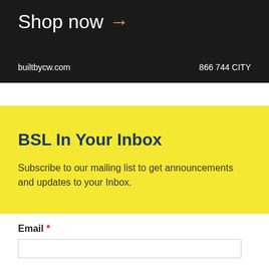[Figure (screenshot): Dark banner with 'Shop now →' text in white and gold arrow, with website 'builtbycw.com' and phone '866 744 CITY' at the bottom]
BSL In Your Inbox
Subscribe to our mailing list to get announcements and updates to your Inbox.
Email *